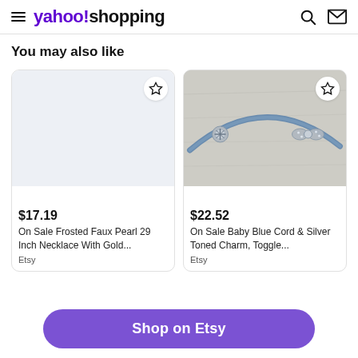yahoo!shopping
You may also like
[Figure (photo): Product card 1: empty light gray placeholder image with star/bookmark button in top right corner]
$17.19
On Sale Frosted Faux Pearl 29 Inch Necklace With Gold...
Etsy
[Figure (photo): Product card 2: photo of a baby blue cord and silver toned charm toggle bracelet on white fabric background, with star/bookmark button in top right corner]
$22.52
On Sale Baby Blue Cord & Silver Toned Charm, Toggle...
Etsy
Shop on Etsy